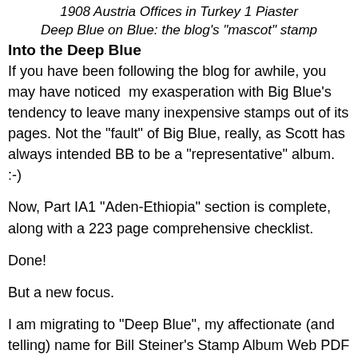1908 Austria Offices in Turkey 1 Piaster
Deep Blue on Blue: the blog's "mascot" stamp
Into the Deep Blue
If you have been following the blog for awhile, you may have noticed  my exasperation with Big Blue's tendency to leave many inexpensive stamps out of its pages. Not the "fault" of Big Blue, really, as Scott has always intended BB to be a "representative" album. :-)
Now, Part IA1 "Aden-Ethiopia" section is complete, along with a 223 page comprehensive checklist.
Done!
But a new focus.
I am migrating to "Deep Blue", my affectionate (and telling) name for Bill Steiner's Stamp Album Web PDF pages.
I DO plan to actively publish as I have done this past year. I will continue to do a country by country analysis of the classical era. I hope to cover (eventually) all the political